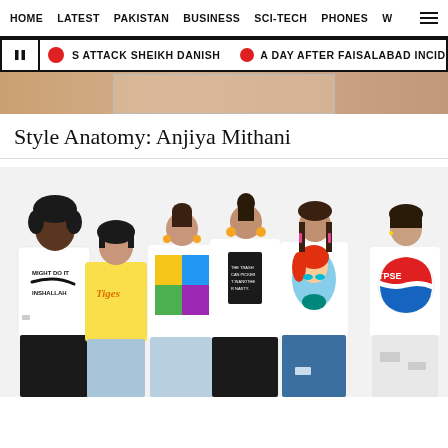HOME   LATEST   PAKISTAN   BUSINESS   SCI-TECH   PHONES   W   ≡
❙❙  S ATTACK SHEIKH DANISH  🔴  A DAY AFTER FAISALABAD INCIDENT, UNDERAGE DOM
[Figure (photo): Partial hero image strip visible at top]
Style Anatomy: Anjiya Mithani
[Figure (photo): Group photo of six models wearing graphic t-shirts with logos including Nike parody (MIGHT DO IT INSHALLAH), Tiger brand, colorful graphic tee, black graphic tee, Little Mermaid print, and Pepsi logo parody (TPSE). Models wear various bottoms including shorts, jeans, and skirts against a white background.]